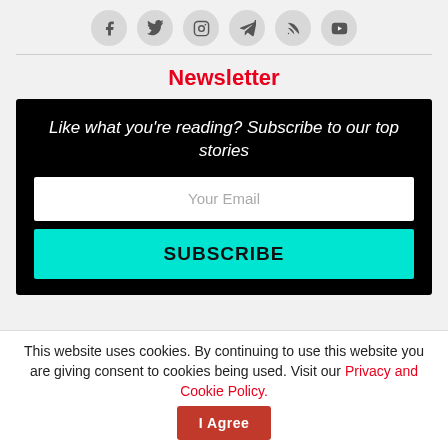[Figure (illustration): Row of six social media icon circles (Facebook, Twitter, Instagram, Telegram, RSS, YouTube) with grey circular backgrounds]
Newsletter
Like what you're reading? Subscribe to our top stories
Your Email
SUBSCRIBE
This website uses cookies. By continuing to use this website you are giving consent to cookies being used. Visit our Privacy and Cookie Policy.
I Agree